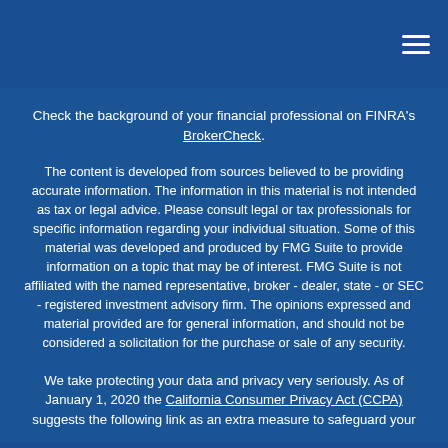☰ (hamburger menu icon)
Check the background of your financial professional on FINRA's BrokerCheck.
The content is developed from sources believed to be providing accurate information. The information in this material is not intended as tax or legal advice. Please consult legal or tax professionals for specific information regarding your individual situation. Some of this material was developed and produced by FMG Suite to provide information on a topic that may be of interest. FMG Suite is not affiliated with the named representative, broker - dealer, state - or SEC - registered investment advisory firm. The opinions expressed and material provided are for general information, and should not be considered a solicitation for the purchase or sale of any security.
We take protecting your data and privacy very seriously. As of January 1, 2020 the California Consumer Privacy Act (CCPA) suggests the following link as an extra measure to safeguard your